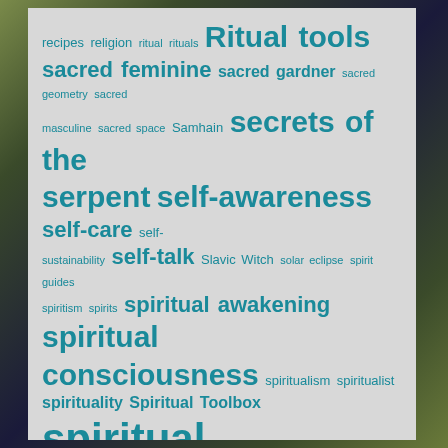[Figure (other): Tag cloud / word cloud on a light gray card over a dark cosmic background, all terms in teal/dark cyan color, varying font sizes indicating frequency/importance.]